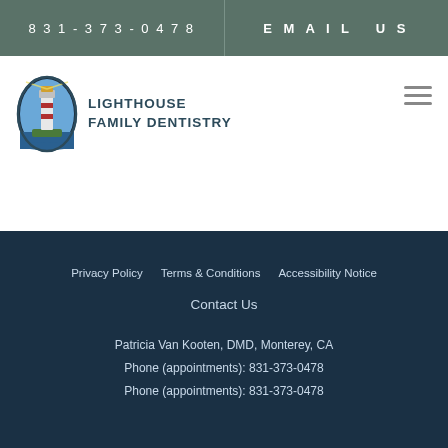831-373-0478    EMAIL US
[Figure (logo): Lighthouse Family Dentistry logo with oval lighthouse illustration and bold text]
Privacy Policy    Terms & Conditions    Accessibility Notice
Contact Us
Patricia Van Kooten, DMD, Monterey, CA
Phone (appointments): 831-373-0478
Phone (appointments): 831-373-0478